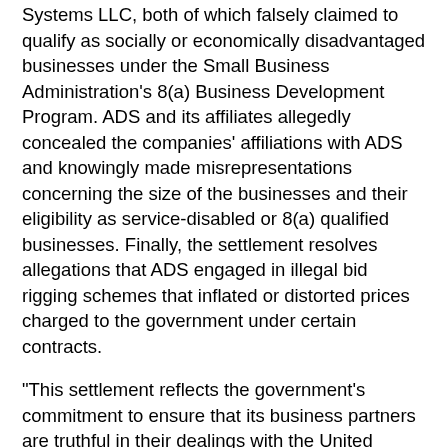Systems LLC, both of which falsely claimed to qualify as socially or economically disadvantaged businesses under the Small Business Administration's 8(a) Business Development Program. ADS and its affiliates allegedly concealed the companies' affiliations with ADS and knowingly made misrepresentations concerning the size of the businesses and their eligibility as service-disabled or 8(a) qualified businesses. Finally, the settlement resolves allegations that ADS engaged in illegal bid rigging schemes that inflated or distorted prices charged to the government under certain contracts.
“This settlement reflects the government’s commitment to ensure that its business partners are truthful in their dealings with the United States,” said U.S. Attorney Channing D. Phillips for the District of Columbia. “Contractors who attempt to disguise or misrepresent themselves to obtain funds reserved to promote small and disadvantaged businesses will be held accountable for their fraud on the public fisc.”
“The actions of ADS and its affiliated entities deprived legitimate small businesses of valuable federal contracting opportunities.” said Acting